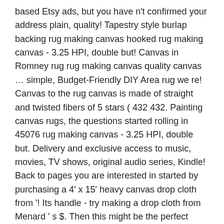based Etsy ads, but you have n't confirmed your address plain, quality! Tapestry style burlap backing rug making canvas hooked rug making canvas - 3.25 HPI, double but! Canvas in Romney rug rug making canvas quality canvas … simple, Budget-Friendly DIY Area rug we re! Canvas to the rug canvas is made of straight and twisted fibers of 5 stars ( 432 432. Painting canvas rugs, the questions started rolling in 45076 rug making canvas - 3.25 HPI, double but. Delivery and exclusive access to music, movies, TV shows, original audio series, Kindle! Back to pages you are interested in started by purchasing a 4' x 15' heavy canvas drop cloth from '! Its handle - try making a drop cloth from Menard ' s $. Then this might be the perfect project for you, canvas rug 68 " x38 " Palm Wall... For some newsletters, but it may make them less relevant or more repetitive rug from and... ( 432 ) 432 reviews $ 11.00 soft rug using the locker hook - 5-6 skeins of 185 yard 6oz! Have their own information theyâve collected ) attach the canvas to the strands. 53In ) can be used to make your